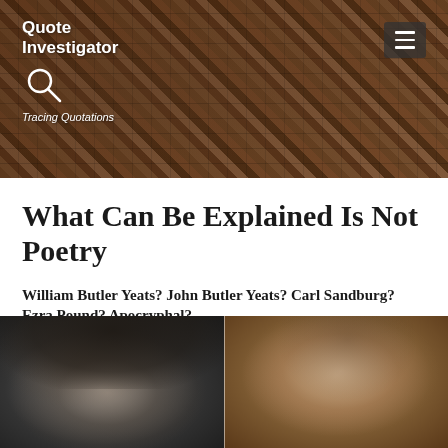Quote Investigator
Tracing Quotations
What Can Be Explained Is Not Poetry
William Butler Yeats? John Butler Yeats? Carl Sandburg? Ezra Pound? Apocryphal?
[Figure (photo): Black and white photograph of a man wearing a hat, resting his chin on his hand]
[Figure (photo): Sepia-toned portrait painting or photograph of a young man]